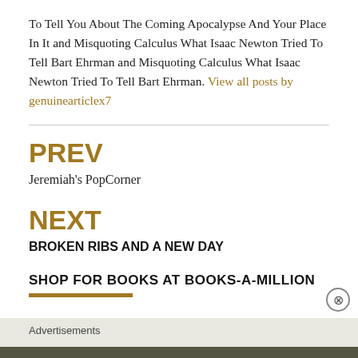To Tell You About The Coming Apocalypse And Your Place In It and Misquoting Calculus What Isaac Newton Tried To Tell Bart Ehrman and Misquoting Calculus What Isaac Newton Tried To Tell Bart Ehrman. View all posts by genuinearticlex7
PREV
Jeremiah's PopCorner
NEXT
BROKEN RIBS AND A NEW DAY
SHOP FOR BOOKS AT BOOKS-A-MILLION
Advertisements